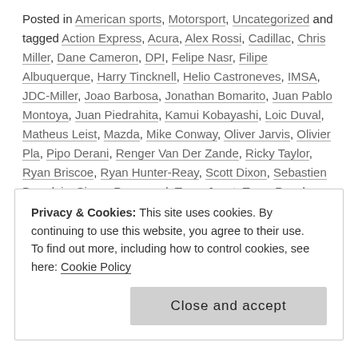Posted in American sports, Motorsport, Uncategorized and tagged Action Express, Acura, Alex Rossi, Cadillac, Chris Miller, Dane Cameron, DPI, Felipe Nasr, Filipe Albuquerque, Harry Tincknell, Helio Castroneves, IMSA, JDC-Miller, Joao Barbosa, Jonathan Bomarito, Juan Pablo Montoya, Juan Piedrahita, Kamui Kobayashi, Loic Duval, Matheus Leist, Mazda, Mike Conway, Oliver Jarvis, Olivier Pla, Pipo Derani, Renger Van Der Zande, Ricky Taylor, Ryan Briscoe, Ryan Hunter-Reay, Scott Dixon, Sebastien Bourdais, Simon Pagenaud, Team Joest, Team Penske, Tristan Nunez, Tristan Vautier, Wayne Taylor Racing, Whelen on January 21, 2020. 4 Comments
Privacy & Cookies: This site uses cookies. By continuing to use this website, you agree to their use. To find out more, including how to control cookies, see here: Cookie Policy
Close and accept